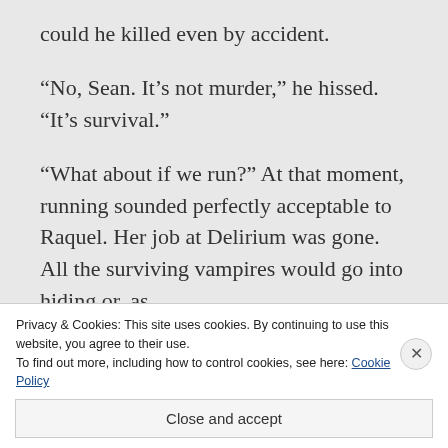could he killed even by accident.
“No, Sean. It’s not murder,” he hissed. “It’s survival.”
“What about if we run?” At that moment, running sounded perfectly acceptable to Raquel. Her job at Delirium was gone. All the surviving vampires would go into hiding or, as
Privacy & Cookies: This site uses cookies. By continuing to use this website, you agree to their use.
To find out more, including how to control cookies, see here: Cookie Policy
Close and accept